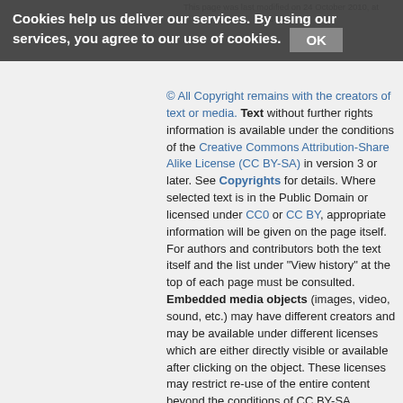This page was last modified on 24 October 2010, at 20:21.
© All Copyright remains with the creators of text or media. Text without further rights information is available under the conditions of the Creative Commons Attribution-Share Alike License (CC BY-SA) in version 3 or later. See Copyrights for details. Where selected text is in the Public Domain or licensed under CC0 or CC BY, appropriate information will be given on the page itself. For authors and contributors both the text itself and the list under "View history" at the top of each page must be consulted. Embedded media objects (images, video, sound, etc.) may have different creators and may be available under different licenses which are either directly visible or available after clicking on the object. These licenses may restrict re-use of the entire content beyond the conditions of CC BY-SA. Additional terms may apply, see the following links:
Privacy policy   About OpenMedia   Terms of Use
Developers
[Figure (logo): Creative Commons CC BY-SA badge]
[Figure (logo): Served by PLAZI, Powered By MediaWiki, Powered By Semantic logos row]